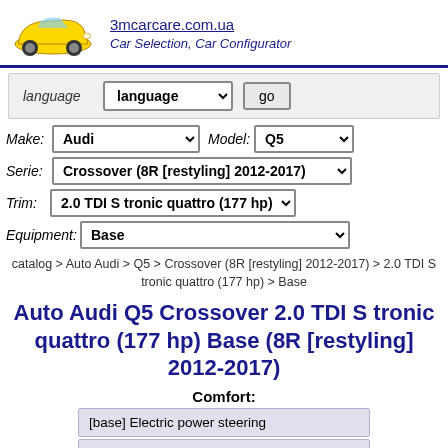[Figure (logo): Yellow sports car logo for 3mcarcare.com.ua with site name and tagline 'Car Selection, Car Configurator']
language  language ▾  go
Make: Audi ▾  Model: Q5 ▾
Serie: Crossover (8R [restyling] 2012-2017) ▾
Trim: 2.0 TDI S tronic quattro (177 hp) ▾
Equipment: Base ▾
catalog > Auto Audi > Q5 > Crossover (8R [restyling] 2012-2017) > 2.0 TDI S tronic quattro (177 hp) > Base
Auto Audi Q5 Crossover 2.0 TDI S tronic quattro (177 hp) Base (8R [restyling] 2012-2017)
Comfort:
[base] Electric power steering
[base] Leather steering wheel design "4 spokes"
[add] Leather sports steering wheel design with...